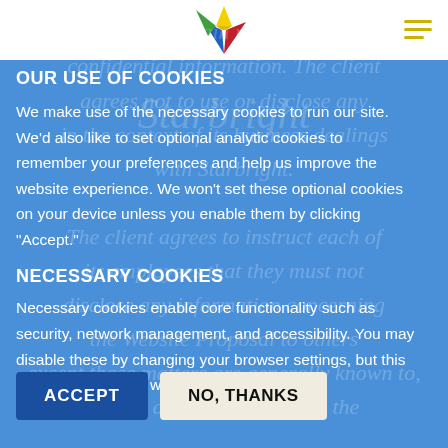[Figure (logo): Starbright logo with multicolor star icon and brand name watermark]
OUR USE OF COOKIES
We make use of the necessary cookies to run our site. We'd also like to set optional analytic cookies to remember your preferences and help us improve the website experience. We won't set these optional cookies on your device unless you enable them by clicking "Accept."
NECESSARY COOKIES
Necessary cookies enable core functionality such as security, network management, and accessibility. You may disable these by changing your browser settings, but this may affect how the website functions.
ACCEPT
NO, THANKS